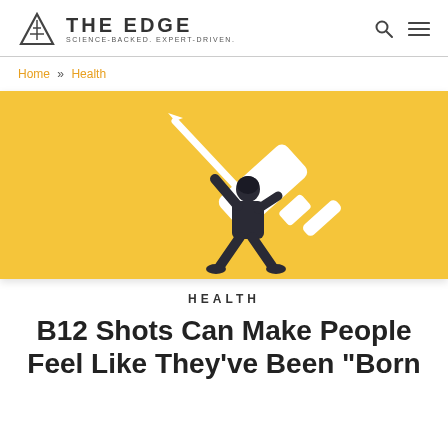THE EDGE — SCIENCE-BACKED. EXPERT-DRIVEN.
Home » Health
[Figure (illustration): Yellow background with a person in dark clothing holding up a large oversized white syringe/injection needle above their head]
HEALTH
B12 Shots Can Make People Feel Like They've Been "Born